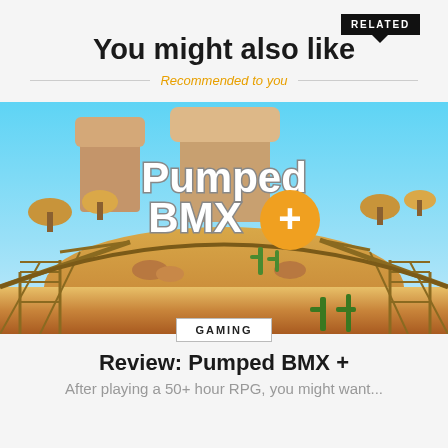RELATED
You might also like
Recommended to you
[Figure (illustration): Pumped BMX+ game screenshot showing a colorful desert scene with ramps, cacti, and rock formations. The game logo 'Pumped BMX+' is displayed prominently in the center.]
GAMING
Review: Pumped BMX +
After playing a 50+ hour RPG, you might want...